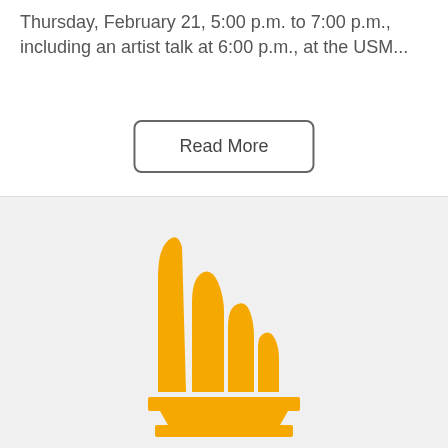Thursday, February 21, 5:00 p.m. to 7:00 p.m., including an artist talk at 6:00 p.m., at the USM...
[Figure (logo): University logo — golden stylized flame/sail shapes rising from a base, on a light gray background]